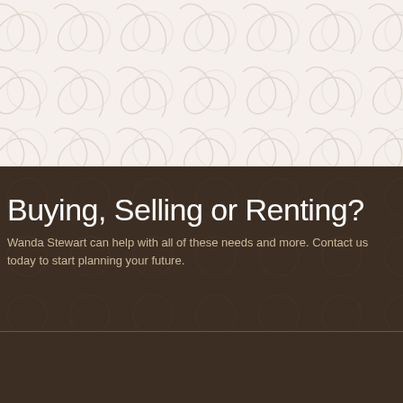[Figure (illustration): Decorative cream/beige background with repeating swirl/scroll ornamental pattern in a slightly darker tone]
Buying, Selling or Renting?
Wanda Stewart can help with all of these needs and more. Contact us today to start planning your future.
[Figure (logo): Harry Norman, Realtors logo — white house/roof icon above the text HARRY NORMAN, REALTORS Since 1930]
Office: 770-893-2400 © 2006 Harry Norman Company. All rights reserved. Licensed Opportunity. Big Canoe is a registered Norman, Realtors is not affiliated with representation is intended or implied.